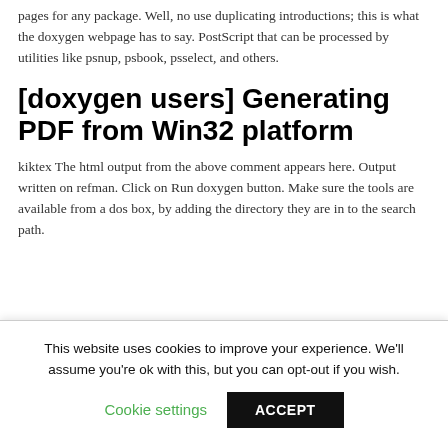pages for any package. Well, no use duplicating introductions; this is what the doxygen webpage has to say. PostScript that can be processed by utilities like psnup, psbook, psselect, and others.
[doxygen users] Generating PDF from Win32 platform
kiktex The html output from the above comment appears here. Output written on refman. Click on Run doxygen button. Make sure the tools are available from a dos box, by adding the directory they are in to the search path.
[Figure (screenshot): Windows Start Menu screenshot showing MiKTeX 2.9 folder with Previewer and TeXworks items on the left, and a context menu on the right with 'Devices and Printers' and 'Run...' options on a grey background.]
This website uses cookies to improve your experience. We'll assume you're ok with this, but you can opt-out if you wish.
Cookie settings    ACCEPT